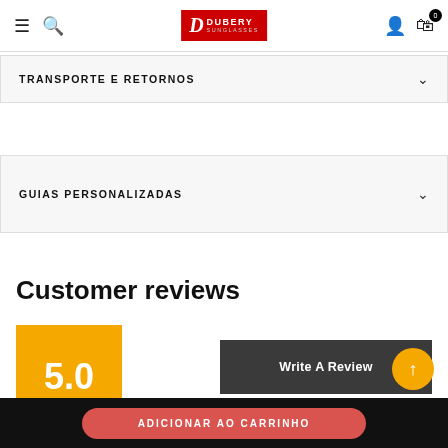Dubery Sunglasses — navigation bar with hamburger, search, logo, user, cart
TRANSPORTE E RETORNOS
GUIAS PERSONALIZADAS
Customer reviews
5.0
Write A Review
Based on 173 reviews
ADICIONAR AO CARRINHO